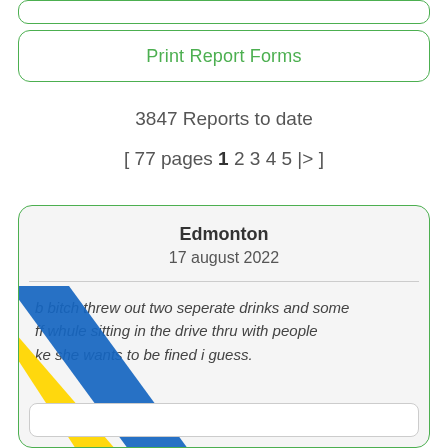Print Report Forms
3847 Reports to date
[ 77 pages 1 2 3 4 5 |> ]
Edmonton
17 august 2022
b bitch threw out two seperate drinks and some ff whule sitting in the drive thru with people ke she wants to be fined i guess.
[Figure (illustration): Blue and yellow diagonal ribbon/banner overlaying the report card]